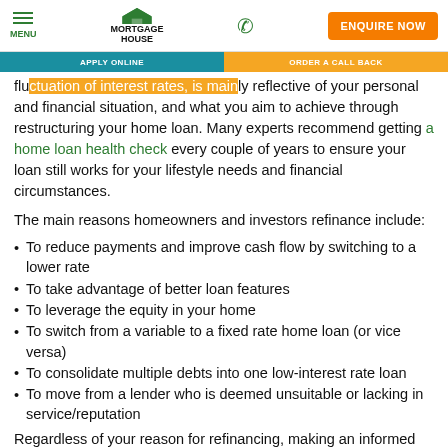MENU | MORTGAGE HOUSE | [phone] | ENQUIRE NOW
fluctuation of interest rates, is mainly reflective of your personal and financial situation, and what you aim to achieve through restructuring your home loan. Many experts recommend getting a home loan health check every couple of years to ensure your loan still works for your lifestyle needs and financial circumstances.
The main reasons homeowners and investors refinance include:
To reduce payments and improve cash flow by switching to a lower rate
To take advantage of better loan features
To leverage the equity in your home
To switch from a variable to a fixed rate home loan (or vice versa)
To consolidate multiple debts into one low-interest rate loan
To move from a lender who is deemed unsuitable or lacking in service/reputation
Regardless of your reason for refinancing, making an informed decision is crucial. Start with a clearly defined goal and then establish a plan of action that will help lead to this.
When is the right time to refinance your home loan?